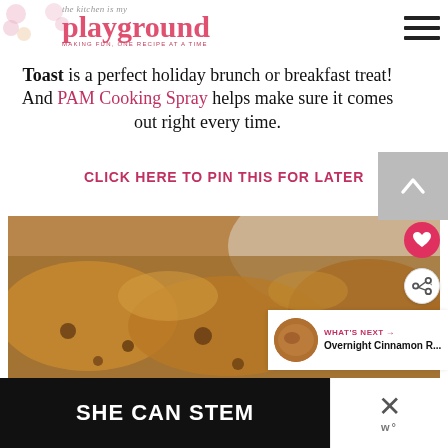the kitchen is my playground
Toast is a perfect holiday brunch or breakfast treat!  And PAM Cooking Spray helps make sure it comes out right every time.
CLICK HERE TO PIN THIS FOR LATER
[Figure (photo): Close-up photo of Overnight Praline French Toast with pecan topping, golden brown and caramelized, in a baking dish]
WHAT'S NEXT → Overnight Cinnamon R...